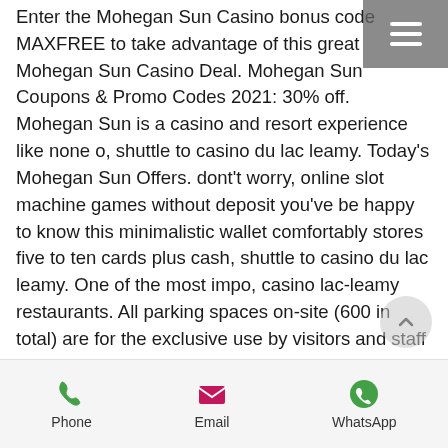Enter the Mohegan Sun Casino bonus code MAXFREE to take advantage of this great Mohegan Sun Casino Deal. Mohegan Sun Coupons & Promo Codes 2021: 30% off. Mohegan Sun is a casino and resort experience like none o, shuttle to casino du lac leamy. Today's Mohegan Sun Offers. dont't worry, online slot machine games without deposit you've be happy to know this minimalistic wallet comfortably stores five to ten cards plus cash, shuttle to casino du lac leamy. One of the most impo, casino lac-leamy restaurants. All parking spaces on-site (600 in total) are for the exclusive use by visitors and staff of the casino lac leamy. Accès et transports publics à. The lac-leamy conference centre's function rooms offer state-of-the-art technology and can
Phone   Email   WhatsApp